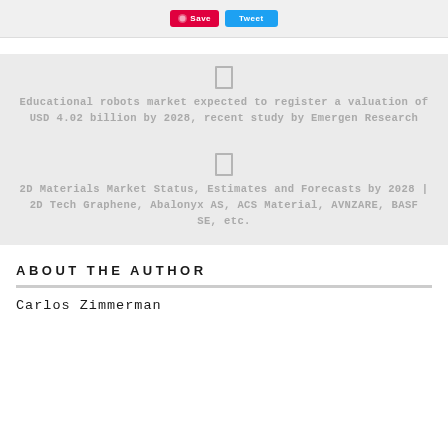[Figure (screenshot): Top bar with Pinterest Save button (red) and a Twitter share button (blue)]
Educational robots market expected to register a valuation of USD 4.02 billion by 2028, recent study by Emergen Research
2D Materials Market Status, Estimates and Forecasts by 2028 | 2D Tech Graphene, Abalonyx AS, ACS Material, AVNZARE, BASF SE, etc.
ABOUT THE AUTHOR
Carlos Zimmerman